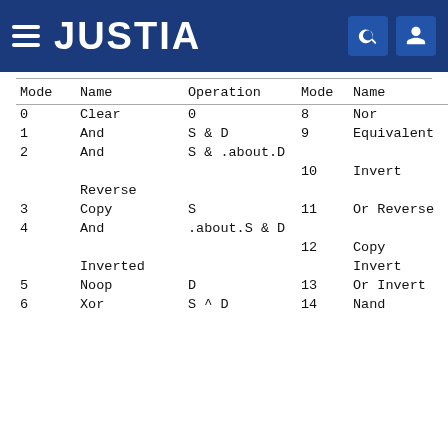JUSTIA
| Mode | Name | Operation | Mode | Name | Op |
| --- | --- | --- | --- | --- | --- |
| 0 | Clear | 0 | 8 | Nor | .a |
| 1 | And | S & D | 9 | Equivalent | .a |
| 2 | And | S & .about.D |  |  |  |
|  |  |  | 10 | Invert | .a |
|  | Reverse |  |  |  |  |
| 3 | Copy | S | 11 | Or Reverse | S |
| 4 | And | .about.S & D |  |  |  |
|  |  |  | 12 | Copy | .a |
|  | Inverted |  |  | Invert |  |
| 5 | Noop | D | 13 | Or Invert | .a |
| 6 | Xor | S ^ D | 14 | Nand |  |